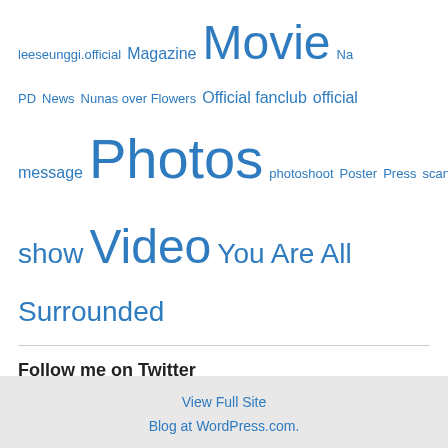leeseunggi.official Magazine Movie Na PD News Nunas over Flowers Official fanclub official message Photos photoshoot Poster Press scan sighting translation Uncategorized Variety Variety show Video You Are All Surrounded
Follow me on Twitter
My Tweets
View Full Site
Blog at WordPress.com.